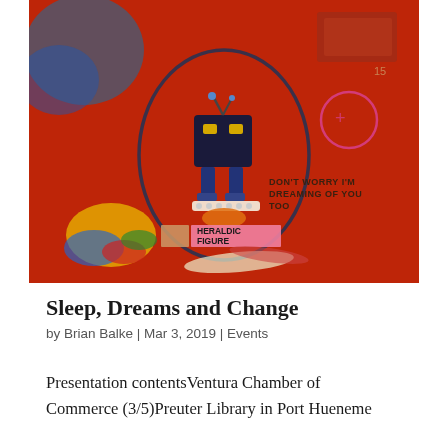[Figure (photo): A red mixed-media artwork featuring a robot-like heraldic figure in a blue oval outline at center, with text reading 'DON'T WORRY I'M DREAMING OF YOU TOO' in brown, a label 'HERALDIC FIGURE' in pink at bottom center, and colorful paint splatters on a red textured background.]
Sleep, Dreams and Change
by Brian Balke | Mar 3, 2019 | Events
Presentation contentsVentura Chamber of Commerce (3/5)Preuter Library in Port Hueneme